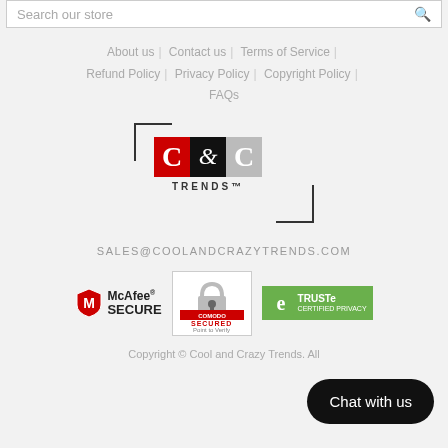Search our store
About us | Contact us | Terms of Service | Refund Policy | Privacy Policy | Copyright Policy | FAQs
[Figure (logo): C&C Trends logo with red C, black &, grey C and TRENDS trademark text, framed by corner brackets]
SALES@COOLANDCRAZYTRENDS.COM
[Figure (infographic): Trust badges: McAfee SECURE, Comodo SECURED, TRUSTe Certified Privacy]
Copyright © Cool and Crazy Trends. All
Chat with us